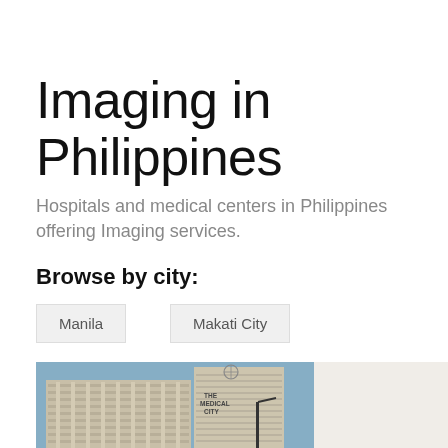Imaging in Philippines
Hospitals and medical centers in Philippines offering Imaging services.
Browse by city:
Manila
Makati City
[Figure (photo): Exterior view of The Medical City building in the Philippines, a tall multi-story hospital building with a blue sky background. The building facade shows horizontal striped architectural elements. The Medical City signage is visible on the upper portion of the building.]